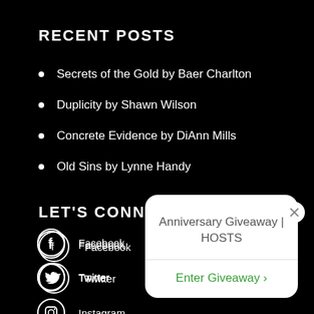RECENT POSTS
Secrets of the Gold by Baer Charlton
Duplicity by Shawn Wilson
Concrete Evidence by DiAnn Mills
Old Sins by Lynne Handy
LET'S CONNECT
Facebook
Twitter
Instagram
Linkedin
Anniversary Giveaway | HOSTS
Enter Giveaway >